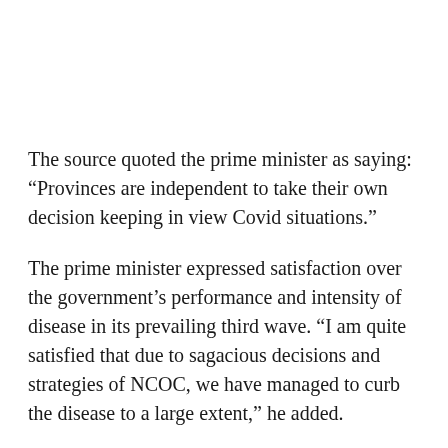The source quoted the prime minister as saying: “Provinces are independent to take their own decision keeping in view Covid situations.”
The prime minister expressed satisfaction over the government’s performance and intensity of disease in its prevailing third wave. “I am quite satisfied that due to sagacious decisions and strategies of NCOC, we have managed to curb the disease to a large extent,” he added.
PM Khan said the government wanted to reopen all businesses as the third wave of Covid-19 was over. “We are monitoring the situation closely and will soon reopen all businesses,” he added.